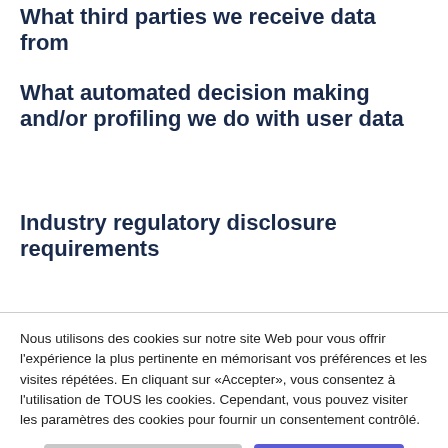What third parties we receive data from
What automated decision making and/or profiling we do with user data
Industry regulatory disclosure requirements
Nous utilisons des cookies sur notre site Web pour vous offrir l'expérience la plus pertinente en mémorisant vos préférences et les visites répétées. En cliquant sur «Accepter», vous consentez à l'utilisation de TOUS les cookies. Cependant, vous pouvez visiter les paramètres des cookies pour fournir un consentement contrôlé.
Paramètres des cookies | J'ACCEPTE